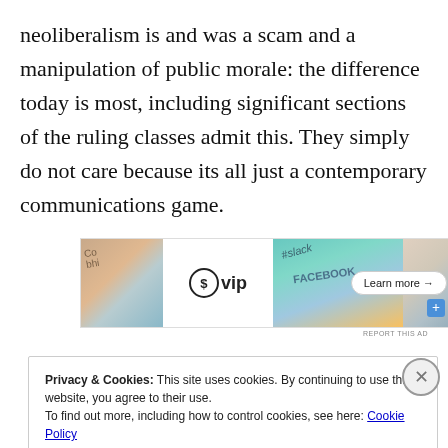neoliberalism is and was a scam and a manipulation of public morale: the difference today is most, including significant sections of the ruling classes admit this. They simply do not care because its all just a contemporary communications game.
[Figure (other): Advertisement banner for WordPress VIP featuring logo, Slack and Facebook icons, and a 'Learn more' button]
Privacy & Cookies: This site uses cookies. By continuing to use this website, you agree to their use.
To find out more, including how to control cookies, see here: Cookie Policy
Close and accept